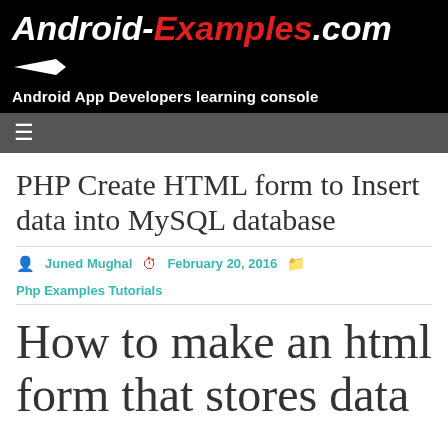Android-Examples.com — Android App Developers learning console
PHP Create HTML form to Insert data into MySQL database
Juned Mughal  February 20, 2016  Php Examples Tutorials
How to make an html form that stores data